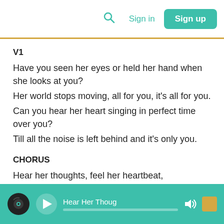Sign in  Sign up
V1
Have you seen her eyes or held her hand when she looks at you?
Her world stops moving, all for you, it's all for you.
Can you hear her heart singing in perfect time over you?
Till all the noise is left behind and it's only you.
CHORUS
Hear her thoughts, feel her heartbeat,
As one blinded to the race of time.
Hear her speak words of life into you, to you.
Hear Her Thoughts